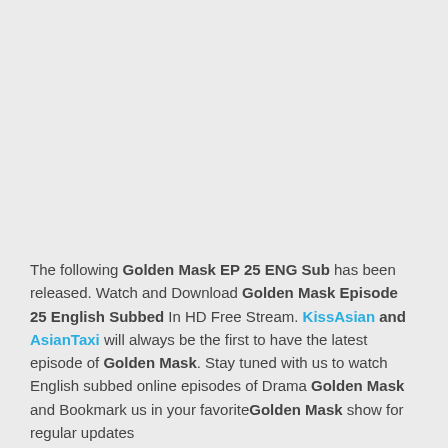The following Golden Mask EP 25 ENG Sub has been released. Watch and Download Golden Mask Episode 25 English Subbed In HD Free Stream. KissAsian and AsianTaxi will always be the first to have the latest episode of Golden Mask. Stay tuned with us to watch English subbed online episodes of Drama Golden Mask and Bookmark us in your favoriteGolden Mask show for regular updates